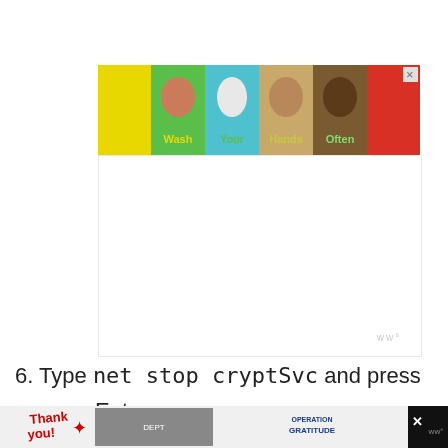[Figure (illustration): Wash Your Hands Often advertisement banner with colorful hand icons on yellow, cyan, tan/brown backgrounds with text labels Wash, Your, Hands, Often]
[Figure (screenshot): White content area, possibly a screenshot of a computer interface or blank document area with a ww watermark in the bottom right]
6. Type net stop cryptSvc  and press Enter
[Figure (photo): Thank you Operation Gratitude banner ad showing firefighters and military appreciation logo at the bottom of the page]